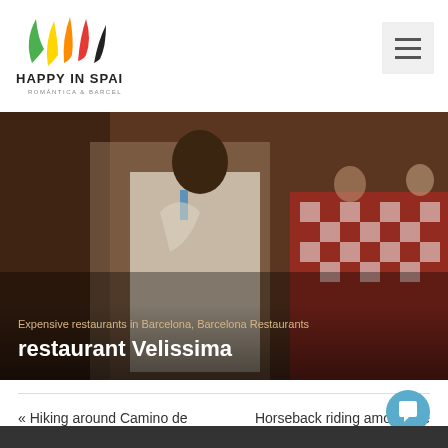[Figure (logo): Happy in Spain logo with colorful flame/leaf shapes above text 'HAPPY IN SPAIN' and subtitle 'ROMÁNTICA & BARCELONA']
[Figure (photo): Restaurant scene with a chef in white uniform in foreground and diners at a red checkered tablecloth table in the background]
Expensive restaurants in Barcelona, Barcelona Restaurants
restaurant Velissima
« Hiking around Camino de Ronda
Horseback riding among the volcanoes »